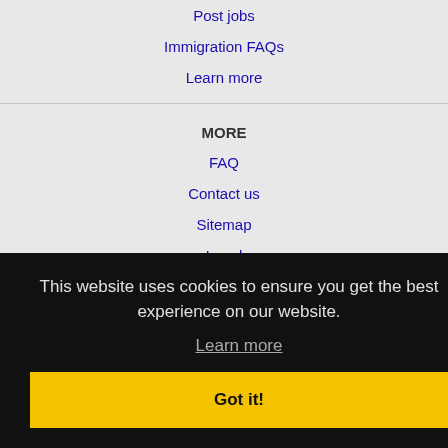Post jobs
Immigration FAQs
Learn more
MORE
FAQ
Contact us
Sitemap
Legal
Privacy
This website uses cookies to ensure you get the best experience on our website.
Learn more
Got it!
NEARBY CITIES
Bedford, TX Jobs
Carrollton, TX Jobs